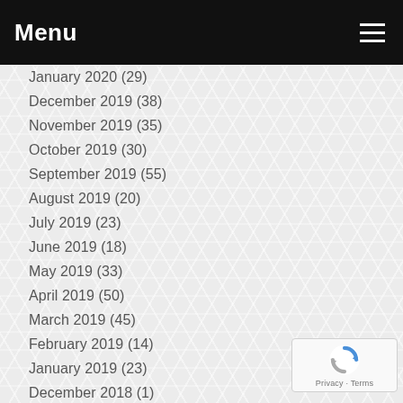Menu
January 2020 (29)
December 2019 (38)
November 2019 (35)
October 2019 (30)
September 2019 (55)
August 2019 (20)
July 2019 (23)
June 2019 (18)
May 2019 (33)
April 2019 (50)
March 2019 (45)
February 2019 (14)
January 2019 (23)
December 2018 (1)